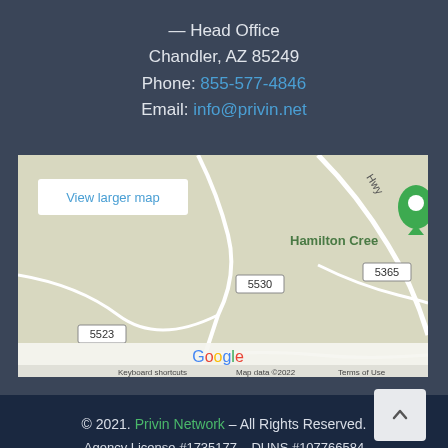— Head Office
Chandler, AZ 85249
Phone: 855-577-4846
Email: info@privin.net
[Figure (map): Google Maps screenshot showing a rural area with road labels 5530, 5523, 5365 and Hamilton Creek label. Shows 'View larger map' button, Google logo, and footer text: Keyboard shortcuts | Map data ©2022 | Terms of Use]
© 2021. Privin Network – All Rights Reserved.
Agency License #1735177 – DUNS #107766584